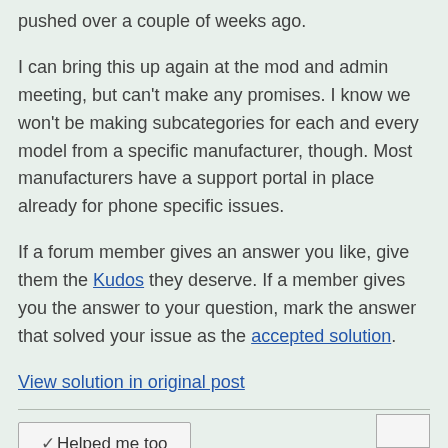pushed over a couple of weeks ago.
I can bring this up again at the mod and admin meeting, but can't make any promises.  I know we won't be making subcategories for each and every model from a specific manufacturer, though.  Most manufacturers have a support portal in place already for phone specific issues.
If a forum member gives an answer you like, give them the Kudos they deserve. If a member gives you the answer to your question, mark the answer that solved your issue as the accepted solution.
View solution in original post